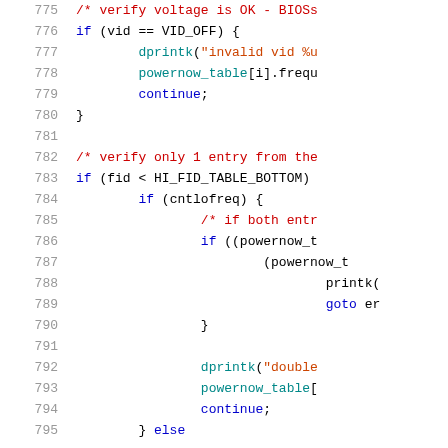[Figure (screenshot): Source code listing showing C code lines 775-795 with syntax highlighting. Line numbers in gray on the left, keywords in blue, comments in red, strings in orange-red, identifiers in teal/cyan.]